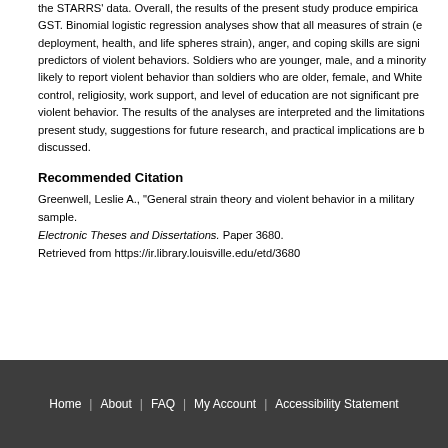the STARRS' data. Overall, the results of the present study produce empirical support for GST. Binomial logistic regression analyses show that all measures of strain (e.g., financial, deployment, health, and life spheres strain), anger, and coping skills are significant predictors of violent behaviors. Soldiers who are younger, male, and a minority are more likely to report violent behavior than soldiers who are older, female, and White. Locus of control, religiosity, work support, and level of education are not significant predictors of violent behavior. The results of the analyses are interpreted and the limitations of the present study, suggestions for future research, and practical implications are briefly discussed.
Recommended Citation
Greenwell, Leslie A., "General strain theory and violent behavior in a military sample. Electronic Theses and Dissertations. Paper 3680. Retrieved from https://ir.library.louisville.edu/etd/3680
Home | About | FAQ | My Account | Accessibility Statement